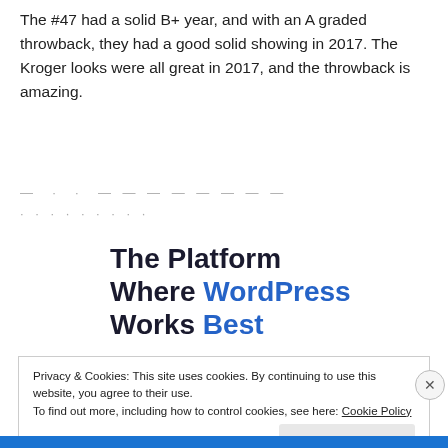The #47 had a solid B+ year, and with an A graded throwback, they had a good solid showing in 2017. The Kroger looks were all great in 2017, and the throwback is amazing.
— . . --------
. . . . . . . . .
The Platform Where WordPress Works Best
Privacy & Cookies: This site uses cookies. By continuing to use this website, you agree to their use.
To find out more, including how to control cookies, see here: Cookie Policy
Close and accept